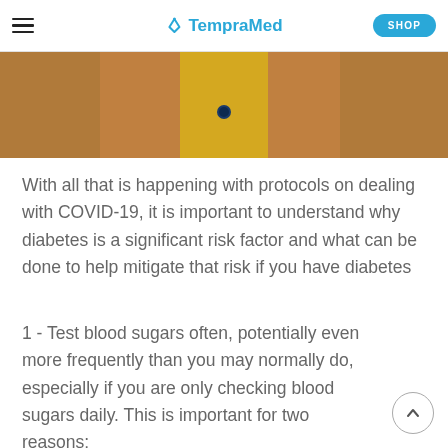TempraMed — SHOP
[Figure (photo): Partial view of a person wearing a tan/camel coat with a yellow sweater underneath, photographed from the neck down.]
With all that is happening with protocols on dealing with COVID-19, it is important to understand why diabetes is a significant risk factor and what can be done to help mitigate that risk if you have diabetes
1 - Test blood sugars often, potentially even more frequently than you may normally do, especially if you are only checking blood sugars daily. This is important for two reasons: